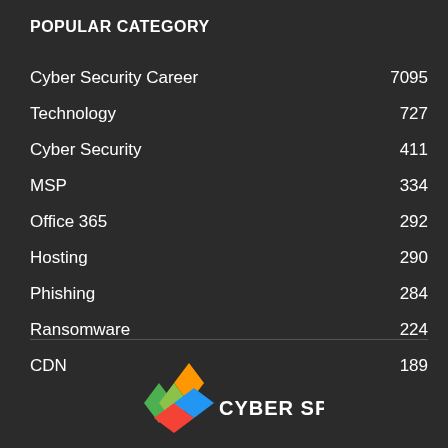POPULAR CATEGORY
Cyber Security Career    7095
Technology    727
Cyber Security    411
MSP    334
Office 365    292
Hosting    290
Phishing    284
Ransomware    224
CDN    189
[Figure (logo): Cyber Special logo with colorful diamond/arrow shapes and text CYBER SPECIAL partially visible at bottom]